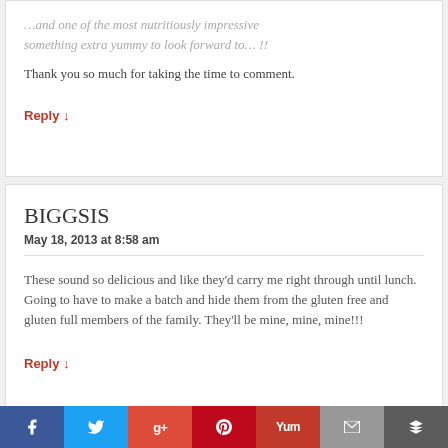MENU
…and one of the most nutritiously impressive 
anything extra yummy to look forward to… !!
Thank you so much for taking the time to comment.
Reply ↓
BIGGSIS
May 18, 2013 at 8:58 am
These sound so delicious and like they'd carry me right through until lunch. Going to have to make a batch and hide them from the gluten free and gluten full members of the family. They'll be mine, mine, mine!!!
Reply ↓